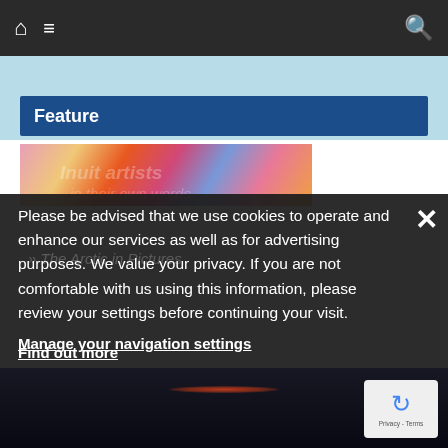Navigation bar with home, menu, and search icons
Feature
[Figure (illustration): Colorful abstract art strip with swirling patterns in pink, orange, blue, and purple tones]
Inuit artists in their own words
Please be advised that we use cookies to operate and enhance our services as well as for advertising purposes. We value your privacy. If you are not comfortable with us using this information, please review your settings before continuing your visit.
The Arctic in Pictures
Manage your navigation settings
Find out more
[Figure (photo): Dark night ocean scene with orange/red reflection on water]